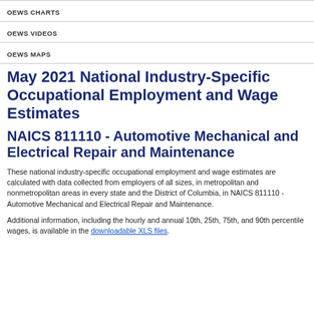OEWS CHARTS
OEWS VIDEOS
OEWS MAPS
May 2021 National Industry-Specific Occupational Employment and Wage Estimates
NAICS 811110 - Automotive Mechanical and Electrical Repair and Maintenance
These national industry-specific occupational employment and wage estimates are calculated with data collected from employers of all sizes, in metropolitan and nonmetropolitan areas in every state and the District of Columbia, in NAICS 811110 - Automotive Mechanical and Electrical Repair and Maintenance.
Additional information, including the hourly and annual 10th, 25th, 75th, and 90th percentile wages, is available in the downloadable XLS files.